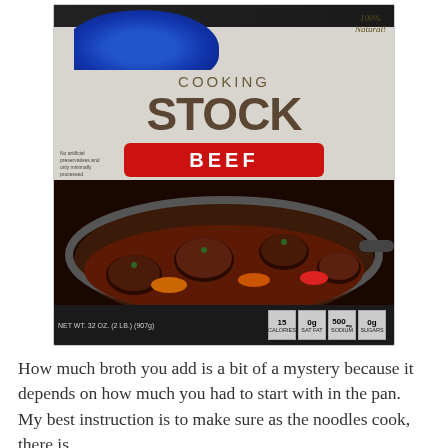[Figure (photo): A carton of beef cooking stock product. The carton shows '100% Natural!' at top right, 'COOKING STOCK' in large text, 'BEEF' in white text on a red banner, small fine print on left, and a photo of beef stew with vegetables in a dark pan. Bottom shows nutrition facts and NET WT. 32 OZ (2 LB.) (907g).]
How much broth you add is a bit of a mystery because it depends on how much you had to start with in the pan.  My best instruction is to make sure as the noodles cook, there is